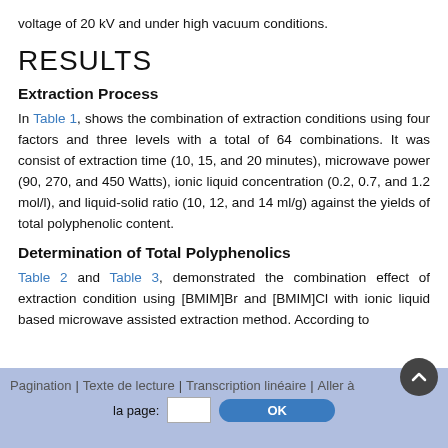voltage of 20 kV and under high vacuum conditions.
RESULTS
Extraction Process
In Table 1, shows the combination of extraction conditions using four factors and three levels with a total of 64 combinations. It was consist of extraction time (10, 15, and 20 minutes), microwave power (90, 270, and 450 Watts), ionic liquid concentration (0.2, 0.7, and 1.2 mol/l), and liquid-solid ratio (10, 12, and 14 ml/g) against the yields of total polyphenolic content.
Determination of Total Polyphenolics
Table 2 and Table 3, demonstrated the combination effect of extraction condition using [BMIM]Br and [BMIM]Cl with ionic liquid based microwave assisted extraction method. According to
Pagination | Texte de lecture | Transcription linéaire | Aller à la page: [input] OK